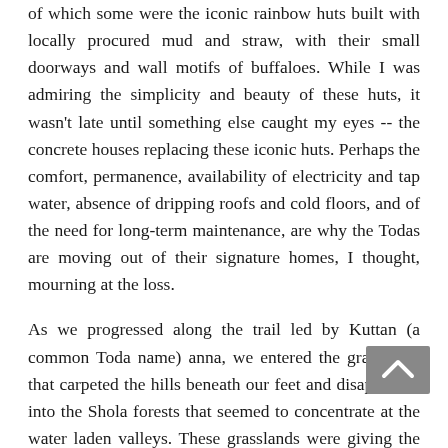of which some were the iconic rainbow huts built with locally procured mud and straw, with their small doorways and wall motifs of buffaloes. While I was admiring the simplicity and beauty of these huts, it wasn't late until something else caught my eyes -- the concrete houses replacing these iconic huts. Perhaps the comfort, permanence, availability of electricity and tap water, absence of dripping roofs and cold floors, and of the need for long-term maintenance, are why the Todas are moving out of their signature homes, I thought, mourning at the loss.

As we progressed along the trail led by Kuttan (a common Toda name) anna, we entered the grasslands that carpeted the hills beneath our feet and disappeared into the Shola forests that seemed to concentrate at the water laden valleys. These grasslands were giving the hills a warm beige background, with blots of shining